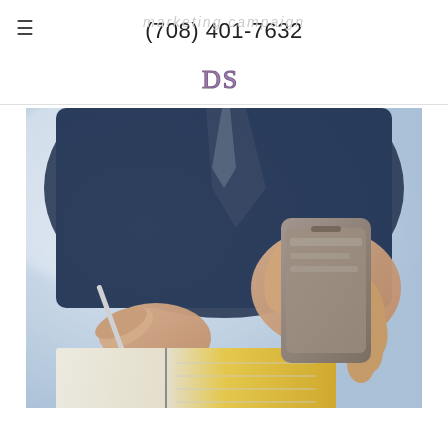marketing campaign  (708) 401-7632
[Figure (logo): DS logo mark in purple/mauve serif letters]
[Figure (photo): Close-up photo of a person in a navy blue suit writing in a notebook while holding a smartphone in the other hand. The background is blurred. The notebook has a yellow page visible.]